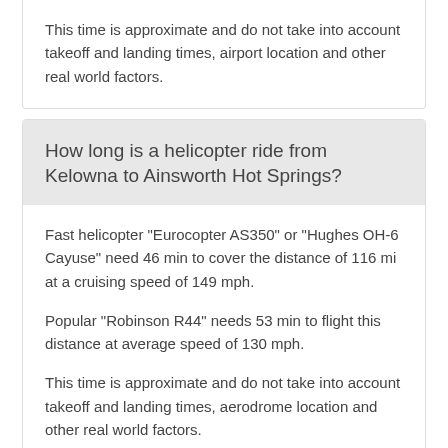This time is approximate and do not take into account takeoff and landing times, airport location and other real world factors.
How long is a helicopter ride from Kelowna to Ainsworth Hot Springs?
Fast helicopter "Eurocopter AS350" or "Hughes OH-6 Cayuse" need 46 min to cover the distance of 116 mi at a cruising speed of 149 mph.
Popular "Robinson R44" needs 53 min to flight this distance at average speed of 130 mph.
This time is approximate and do not take into account takeoff and landing times, aerodrome location and other real world factors.
What city is halfway between Kelowna and